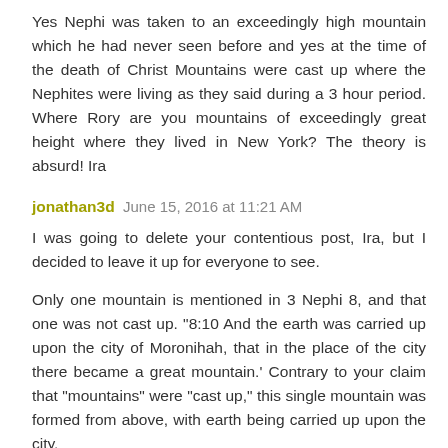Yes Nephi was taken to an exceedingly high mountain which he had never seen before and yes at the time of the death of Christ Mountains were cast up where the Nephites were living as they said during a 3 hour period. Where Rory are you mountains of exceedingly great height where they lived in New York? The theory is absurd! Ira
jonathan3d June 15, 2016 at 11:21 AM
I was going to delete your contentious post, Ira, but I decided to leave it up for everyone to see.
Only one mountain is mentioned in 3 Nephi 8, and that one was not cast up. "8:10 And the earth was carried up upon the city of Moronihah, that in the place of the city there became a great mountain.' Contrary to your claim that "mountains" were "cast up," this single mountain was formed from above, with earth being carried up upon the city.